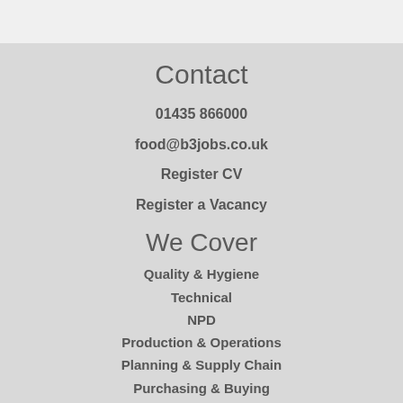Contact
01435 866000
food@b3jobs.co.uk
Register CV
Register a Vacancy
We Cover
Quality & Hygiene
Technical
NPD
Production & Operations
Planning & Supply Chain
Purchasing & Buying
Sales & Commercial
Engineering
Graduates
Human Resources
Warehouse & Logistics